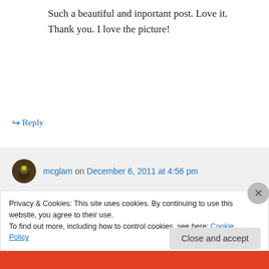Such a beautiful and inportant post. Love it. Thank you. I love the picture!
↪ Reply
mcglam on December 6, 2011 at 4:56 pm
You once wrote to me, “… if you look and want to see, there are secrets in the world and much love in it.” Truth. Truth. Truth.
Privacy & Cookies: This site uses cookies. By continuing to use this website, you agree to their use. To find out more, including how to control cookies, see here: Cookie Policy
Close and accept